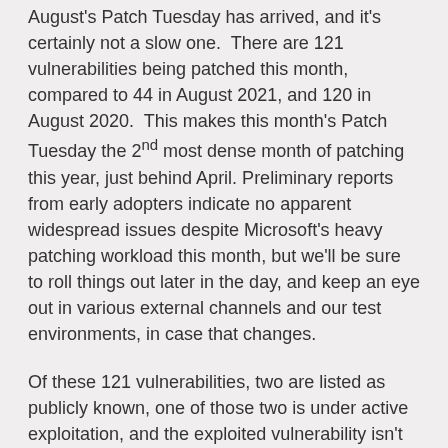August's Patch Tuesday has arrived, and it's certainly not a slow one. There are 121 vulnerabilities being patched this month, compared to 44 in August 2021, and 120 in August 2020. This makes this month's Patch Tuesday the 2nd most dense month of patching this year, just behind April. Preliminary reports from early adopters indicate no apparent widespread issues despite Microsoft's heavy patching workload this month, but we'll be sure to roll things out later in the day, and keep an eye out in various external channels and our test environments, in case that changes.
Of these 121 vulnerabilities, two are listed as publicly known, one of those two is under active exploitation, and the exploited vulnerability isn't wormable... so, while the amount of overall vulnerabilities is high (and there are some standouts, as usual), the urgency is about average.
Kicking off the highlights, I'll start with the vulnerability that's already being exploited: a Local Code Execution vulnerability